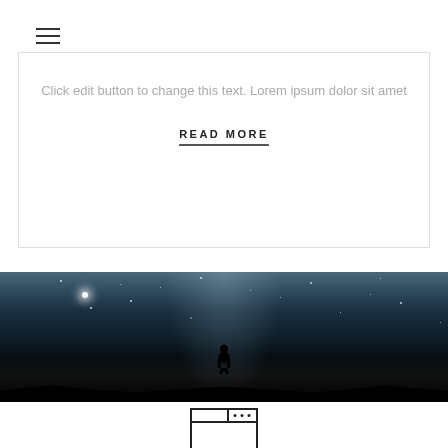☰
Click edit button to change this text. Lorem ipsum dolor sit amet
READ MORE
[Figure (photo): Night sky photograph with silhouette of a person standing on a hill, Milky Way galaxy visible, bright star to the upper left]
[Figure (illustration): Browser window icon outline at the bottom of the page]